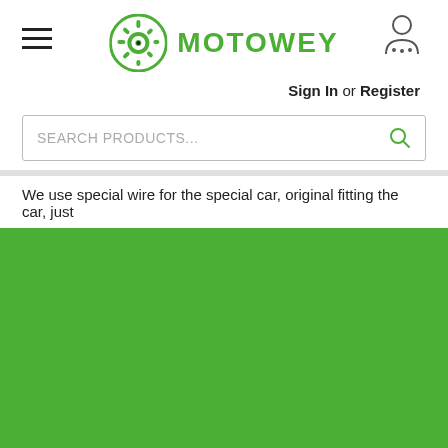MOTOWEY — Sign In or Register
SEARCH PRODUCTS...
We use special wire for the special car, original fitting the car, just
$149.00
− 1 +
ADD TO CART